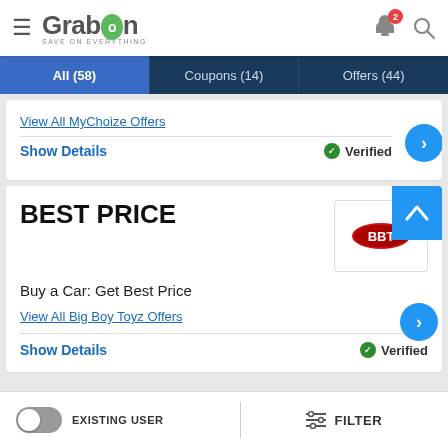GrabOn - Save on Everything
All (58) | Coupons (14) | Offers (44)
View All MyChoize Offers
Show Details  ✓ Verified
BEST PRICE
Buy a Car: Get Best Price
View All Big Boy Toyz Offers
Show Details  ✓ Verified
EXISTING USER  |  FILTER